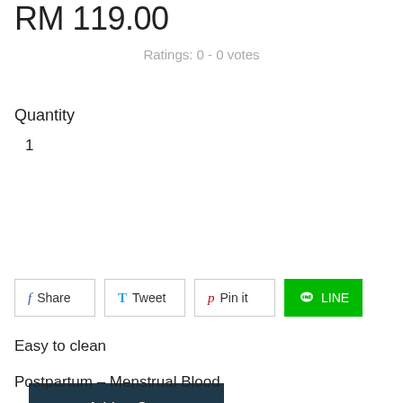RM 119.00
Ratings: 0 - 0 votes
Quantity
1
Add to Cart
Share  Tweet  Pin it  LINE
Easy to clean
Postpartum – Menstrual Blood